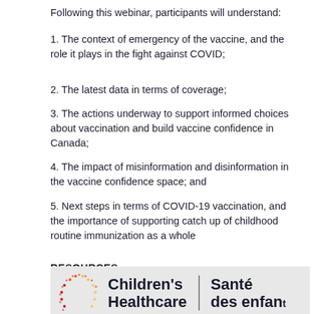Following this webinar, participants will understand:
1. The context of emergency of the vaccine, and the role it plays in the fight against COVID;
2. The latest data in terms of coverage;
3. The actions underway to support informed choices about vaccination and build vaccine confidence in Canada;
4. The impact of misinformation and disinformation in the vaccine confidence space; and
5. Next steps in terms of COVID-19 vaccination, and the importance of supporting catch up of childhood routine immunization as a whole
RESOURCES
[Figure (screenshot): Video thumbnail with dark background showing PHAC logo and title text: PHAC's Approach to Vaccine Confidence in]
[Figure (logo): Children's Healthcare / Santé des enfants logo with multicolored dotted arc and text in English and French]